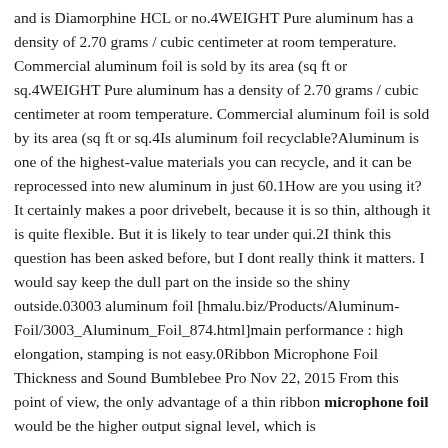and is Diamorphine HCL or no.4WEIGHT Pure aluminum has a density of 2.70 grams / cubic centimeter at room temperature. Commercial aluminum foil is sold by its area (sq ft or sq.4WEIGHT Pure aluminum has a density of 2.70 grams / cubic centimeter at room temperature. Commercial aluminum foil is sold by its area (sq ft or sq.4Is aluminum foil recyclable?Aluminum is one of the highest-value materials you can recycle, and it can be reprocessed into new aluminum in just 60.1How are you using it? It certainly makes a poor drivebelt, because it is so thin, although it is quite flexible. But it is likely to tear under qui.2I think this question has been asked before, but I dont really think it matters. I would say keep the dull part on the inside so the shiny outside.03003 aluminum foil [hmalu.biz/Products/Aluminum-Foil/3003_Aluminum_Foil_874.html]main performance : high elongation, stamping is not easy.0Ribbon Microphone Foil Thickness and Sound Bumblebee Pro Nov 22, 2015 From this point of view, the only advantage of a thin ribbon microphone foil would be the higher output signal level, which is